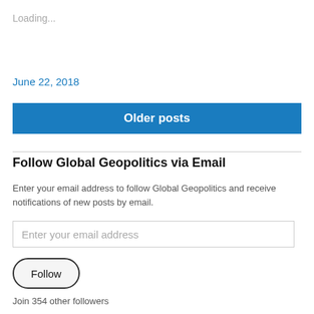Loading...
June 22, 2018
Older posts
Follow Global Geopolitics via Email
Enter your email address to follow Global Geopolitics and receive notifications of new posts by email.
Enter your email address
Follow
Join 354 other followers